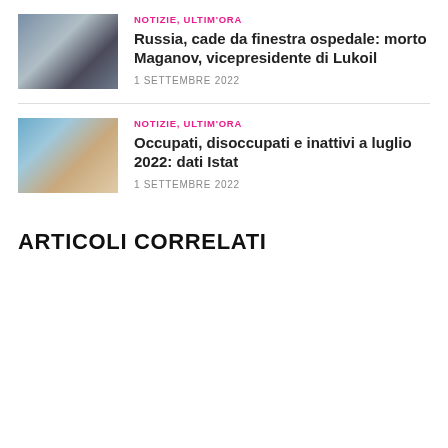[Figure (photo): Two men in suits, one appears to be a political figure, photographed together]
NOTIZIE, ULTIM'ORA
Russia, cade da finestra ospedale: morto Maganov, vicepresidente di Lukoil
1 SETTEMBRE 2022
[Figure (photo): Person working on a laptop computer, hands visible on keyboard]
NOTIZIE, ULTIM'ORA
Occupati, disoccupati e inattivi a luglio 2022: dati Istat
1 SETTEMBRE 2022
ARTICOLI CORRELATI